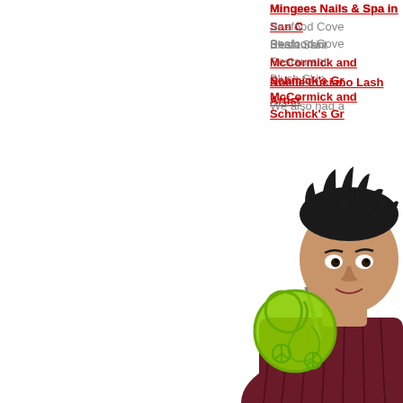Mingees Nails & Spa in San C...
Seafood Cove Restaurant
Blush Skin
McCormick and Schmick's Gr...
Noelle Luciano Lash Artist
We also had a Phamtastic Phot... hahah. Here they are…aren't th... engagement session, *wink, wir...
[Figure (photo): A young man with dark spiky hair holding a large green lollipop, wearing a maroon patterned shirt, white background, partially cropped at right edge of page]